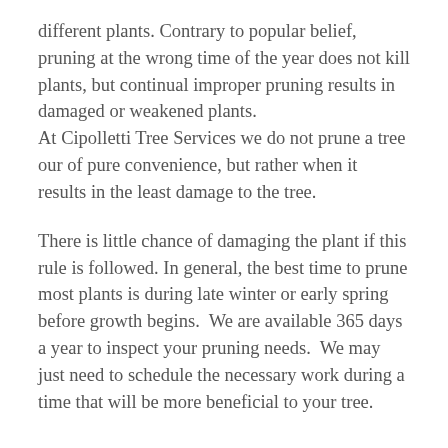different plants. Contrary to popular belief, pruning at the wrong time of the year does not kill plants, but continual improper pruning results in damaged or weakened plants. At Cipolletti Tree Services we do not prune a tree our of pure convenience, but rather when it results in the least damage to the tree.
There is little chance of damaging the plant if this rule is followed. In general, the best time to prune most plants is during late winter or early spring before growth begins.  We are available 365 days a year to inspect your pruning needs.  We may just need to schedule the necessary work during a time that will be more beneficial to your tree.